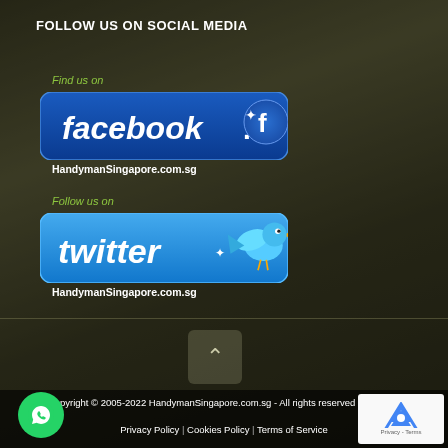FOLLOW US ON SOCIAL MEDIA
Find us on
[Figure (logo): Facebook 'Find us on Facebook' badge with blue rounded rectangle logo]
HandymanSingapore.com.sg
Follow us on
[Figure (logo): Twitter 'Follow us on Twitter' badge with blue rounded rectangle logo and Twitter bird]
HandymanSingapore.com.sg
Copyright © 2005-2022 HandymanSingapore.com.sg - All rights reserved worldwide
Privacy Policy | Cookies Policy | Terms of Service